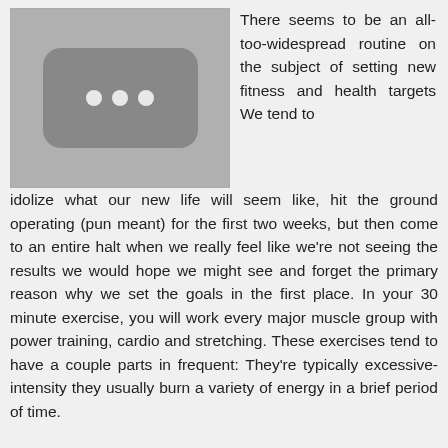[Figure (photo): Placeholder image with three white dots on a dark rounded rectangle, set against a light grey background]
There seems to be an all-too-widespread routine on the subject of setting new fitness and health targets We tend to idolize what our new life will seem like, hit the ground operating (pun meant) for the first two weeks, but then come to an entire halt when we really feel like we're not seeing the results we would hope we might see and forget the primary reason why we set the goals in the first place. In your 30 minute exercise, you will work every major muscle group with power training, cardio and stretching. These exercises tend to have a couple parts in frequent: They're typically excessive-intensity they usually burn a variety of energy in a brief period of time.